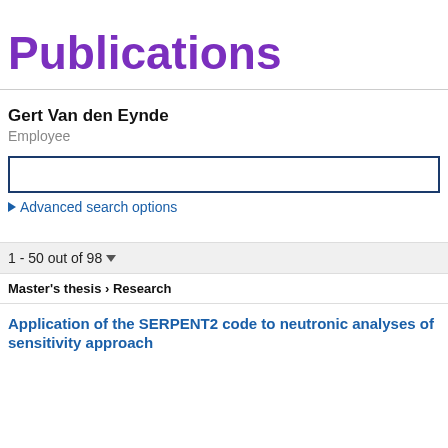Publications
Gert Van den Eynde
Employee
Advanced search options
1 - 50 out of 98
Master's thesis › Research
Application of the SERPENT2 code to neutronic analyses of sensitivity approach